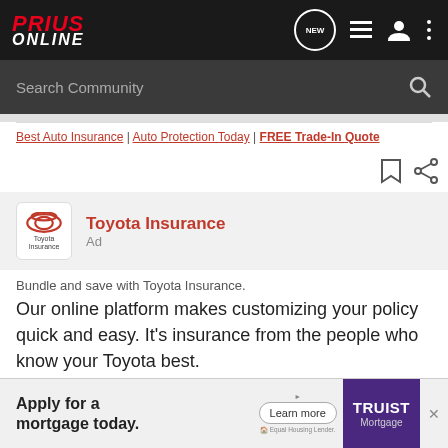[Figure (screenshot): Prius Online website header with logo, NEW chat bubble, list icon, user icon, and more-options icon on dark background]
[Figure (screenshot): Search Community search bar on dark gray background with magnifying glass icon]
Best Auto Insurance | Auto Protection Today | FREE Trade-In Quote
Toyota Insurance
Ad
Bundle and save with Toyota Insurance.
Our online platform makes customizing your policy quick and easy. It's insurance from the people who know your Toyota best.
[Figure (screenshot): Truist Mortgage advertisement banner: 'Apply for a mortgage today. Learn more. TRUIST Mortgage. Equal Housing Lender.']